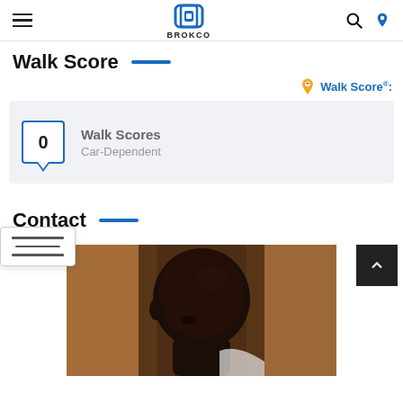BROKCO navigation bar with hamburger menu, logo, search and user icons
Walk Score
Walk Scores®:
Walk Scores  Car-Dependent  0
Contact
[Figure (photo): Portrait photo of a young Black man looking slightly downward, warm golden/brown blurred background, partially cropped]